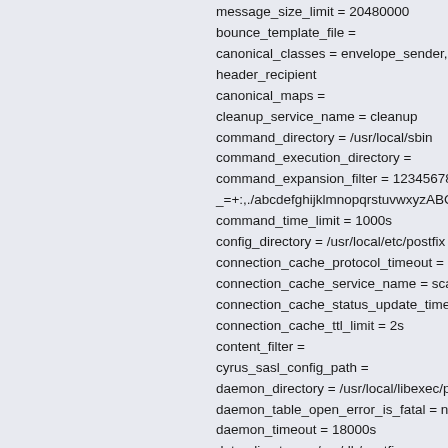message_size_limit = 20480000
bounce_template_file =
canonical_classes = envelope_sender, en
header_recipient
canonical_maps =
cleanup_service_name = cleanup
command_directory = /usr/local/sbin
command_execution_directory =
command_expansion_filter = 12345678900
_=+:,./abcdefghijklmnopqrstuvwxyzABCD
command_time_limit = 1000s
config_directory = /usr/local/etc/postfix
connection_cache_protocol_timeout = 5s
connection_cache_service_name = scach
connection_cache_status_update_time =
connection_cache_ttl_limit = 2s
content_filter =
cyrus_sasl_config_path =
daemon_directory = /usr/local/libexec/pos
daemon_table_open_error_is_fatal = no
daemon_timeout = 18000s
data_directory = /var/db/postfix
debug_peer_level = 2
debug_peer_list =
debugger_command =
default_database_type = hash